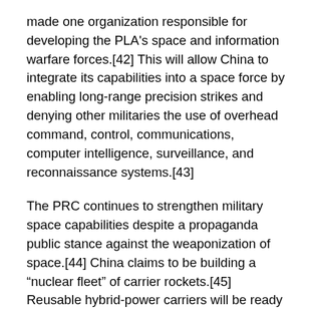made one organization responsible for developing the PLA's space and information warfare forces.[42] This will allow China to integrate its capabilities into a space force by enabling long-range precision strikes and denying other militaries the use of overhead command, control, communications, computer intelligence, surveillance, and reconnaissance systems.[43]
The PRC continues to strengthen military space capabilities despite a propaganda public stance against the weaponization of space.[44] China claims to be building a “nuclear fleet” of carrier rockets.[45] Reusable hybrid-power carriers will be ready for “regular, large scale” interplanetary flights and carrying out commercial exploration and exploitation of natural resources by the mid-2040s.[46] According to state media, they will have the ability to mine resources from asteroids and build solar power plants in space soon after.[47] “The nuclear